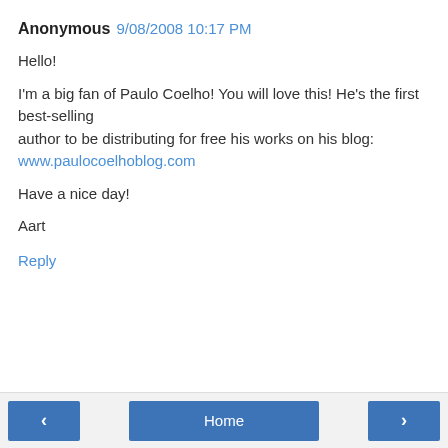Anonymous 9/08/2008 10:17 PM
Hello!

I'm a big fan of Paulo Coelho! You will love this! He's the first best-selling
author to be distributing for free his works on his blog:
www.paulocoelhoblog.com

Have a nice day!

Aart
Reply
< Home >